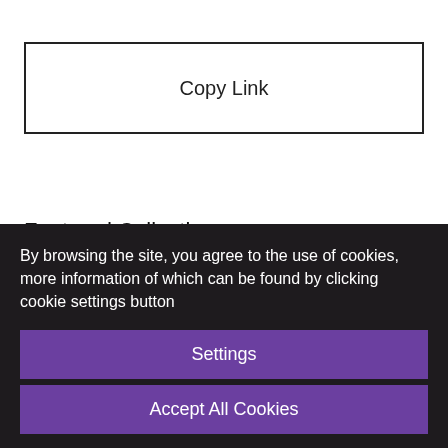Copy Link
Featured Collections
View all
By browsing the site, you agree to the use of cookies, more information of which can be found by clicking cookie settings button
Settings
Accept All Cookies